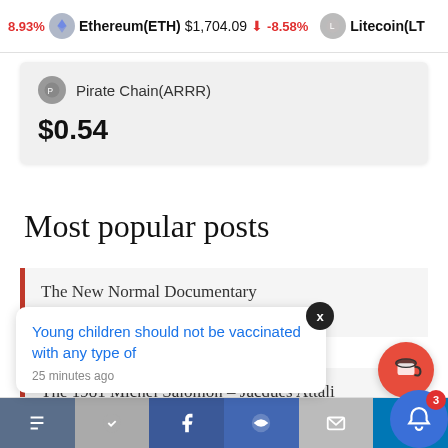8.93%  Ethereum(ETH) $1,704.09 ↓ -8.58%  Litecoin(LT...
Pirate Chain(ARRR)
$0.54
Most popular posts
The New Normal Documentary
41.1k views | posted on January 14, 2021
The 1981 Michel Salomon – Jacques Attali
Young children should not be vaccinated with any type of
25 minutes ago